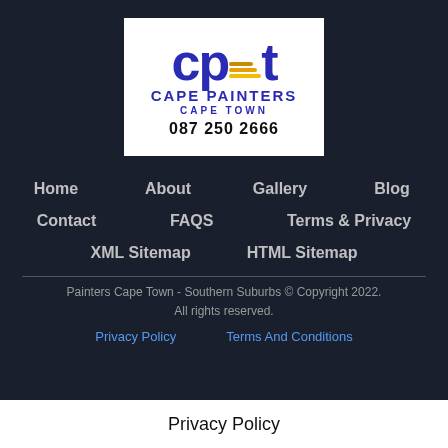[Figure (logo): Cape Painters Cape Town logo with CPT initials in blue, orange/yellow stripes, company name, and phone number 087 250 2666]
Home
About
Gallery
Blog
Contact
FAQS
Terms & Privacy
XML Sitemap
HTML Sitemap
Painters Cape Town - Southern Suburbs © Copyright 2022. All rights reserved.
Privacy Policy   Terms And Conditions
Privacy Policy